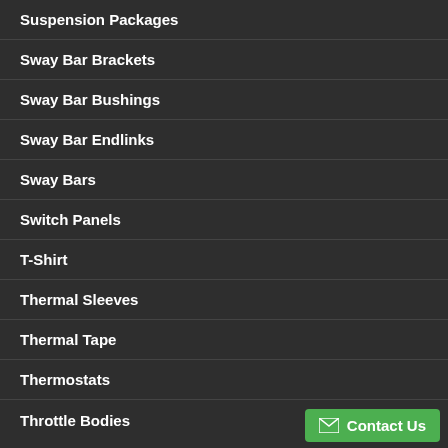Suspension Packages
Sway Bar Brackets
Sway Bar Bushings
Sway Bar Endlinks
Sway Bars
Switch Panels
T-Shirt
Thermal Sleeves
Thermal Tape
Thermostats
Throttle Bodies